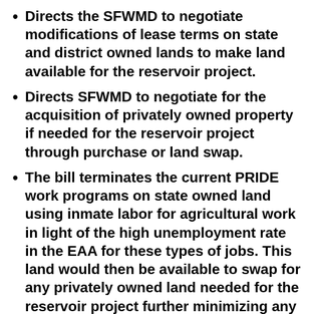Directs the SFWMD to negotiate modifications of lease terms on state and district owned lands to make land available for the reservoir project.
Directs SFWMD to negotiate for the acquisition of privately owned property if needed for the reservoir project through purchase or land swap.
The bill terminates the current PRIDE work programs on state owned land using inmate labor for agricultural work in light of the high unemployment rate in the EAA for these types of jobs. This land would then be available to swap for any privately owned land needed for the reservoir project further minimizing any impact on